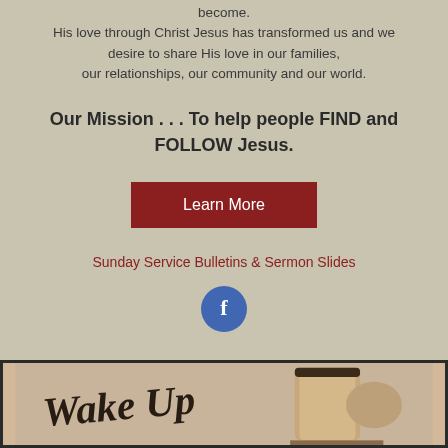become.
His love through Christ Jesus has transformed us and we desire to share His love in our families, our relationships, our community and our world.
Our Mission . . . To help people FIND and FOLLOW Jesus.
Learn More
Sunday Service Bulletins & Sermon Slides
[Figure (illustration): Facebook icon: blue circle with white letter f]
[Figure (photo): Photo of a coffee cup with cursive text reading 'Wake Up']